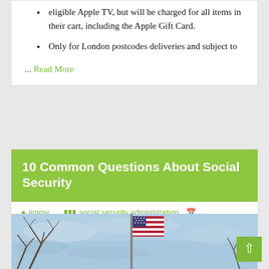eligible Apple TV, but will be charged for all items in their cart, including the Apple Gift Card.
Only for London postcodes deliveries and subject to
... Read More
10 Common Questions About Social Security
jimmy  social security administration  September 4, 2020
[Figure (photo): An American flag flying on a flagpole against a blue sky with bare trees in the background.]